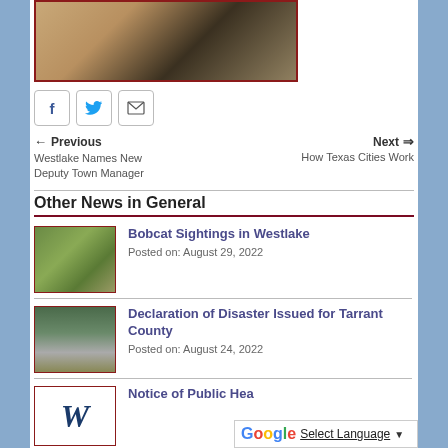[Figure (photo): A woman sitting in a library or office setting with bookshelves in the background]
[Figure (infographic): Social media sharing buttons: Facebook, Twitter, Email]
← Previous   Westlake Names New Deputy Town Manager
Next ⇒   How Texas Cities Work
Other News in General
[Figure (photo): A bobcat standing on rocks near grass]
Bobcat Sightings in Westlake
Posted on: August 29, 2022
[Figure (photo): A flooded roadway or area with trees and power lines]
Declaration of Disaster Issued for Tarrant County
Posted on: August 24, 2022
[Figure (logo): Westlake W logo in cursive script]
Notice of Public Hea...
[Figure (screenshot): Google Translate selector widget]